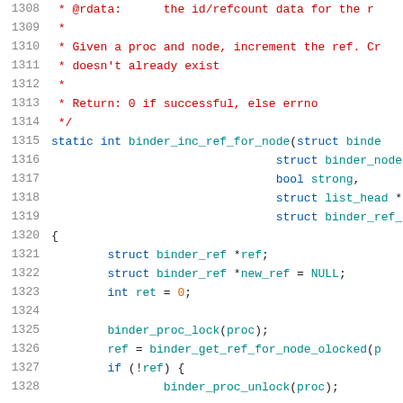[Figure (screenshot): Source code listing showing lines 1308-1328 of a C file, displaying a function binder_inc_ref_for_node with comments, parameter declarations, and variable initializations. Line numbers appear in gray on the left, comment lines in red, keywords in blue/teal.]